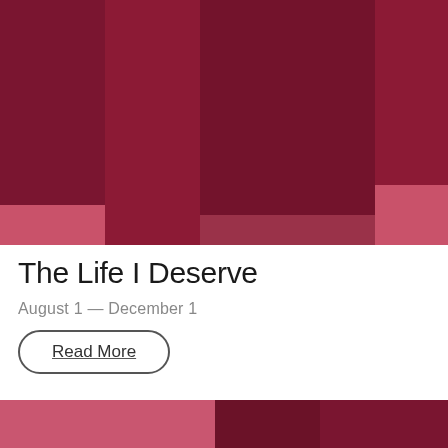[Figure (illustration): Abstract geometric composition with dark crimson/maroon rectangles of varying heights on a pink-magenta background, arranged as vertical bars suggesting a bar chart aesthetic]
The Life I Deserve
August 1 — December 1
Read More
[Figure (illustration): Partial view of another abstract geometric composition with pink and dark crimson rectangles, cropped at the bottom of the page]